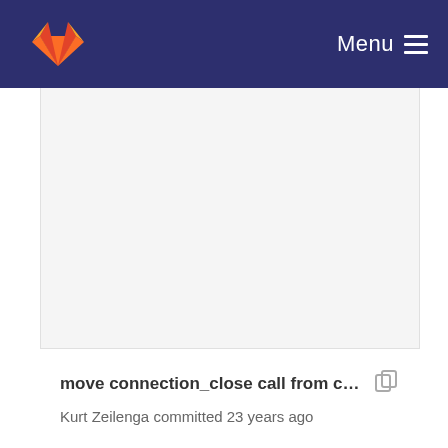Menu
[Figure (screenshot): Empty file view area with light gray background, bordered by white sidebars]
move connection_close call from connection_inp...
Kurt Zeilenga committed 23 years ago